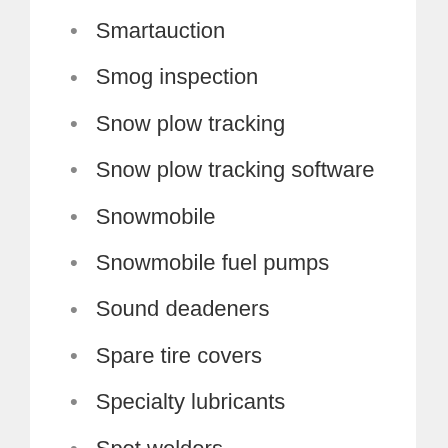Smartauction
Smog inspection
Snow plow tracking
Snow plow tracking software
Snowmobile
Snowmobile fuel pumps
Sound deadeners
Spare tire covers
Specialty lubricants
Spot welders
Spring automotive
Spring hose clamps